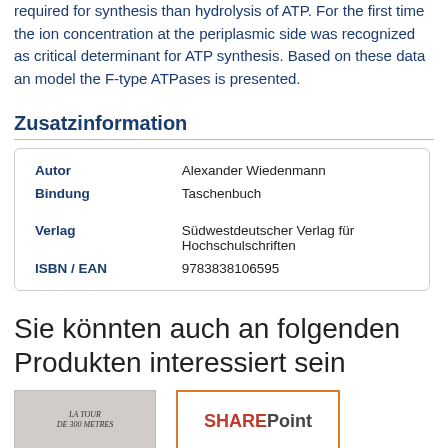required for synthesis than hydrolysis of ATP. For the first time the ion concentration at the periplasmic side was recognized as critical determinant for ATP synthesis. Based on these data an model the F-type ATPases is presented.
Zusatzinformation
|  |  |
| --- | --- |
| Autor | Alexander Wiedenmann |
| Bindung | Taschenbuch |
| Verlag | Südwestdeutscher Verlag für Hochschulschriften |
| ISBN / EAN | 9783838106595 |
Sie könnten auch an folgenden Produkten interessiert sein
[Figure (photo): Book cover: LA TOUR DE 300 METRES]
[Figure (logo): SharePoint logo with orange border]